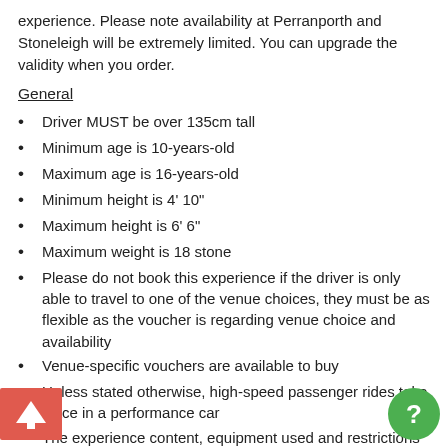experience. Please note availability at Perranporth and Stoneleigh will be extremely limited. You can upgrade the validity when you order.
General
Driver MUST be over 135cm tall
Minimum age is 10-years-old
Maximum age is 16-years-old
Minimum height is 4' 10"
Maximum height is 6' 6"
Maximum weight is 18 stone
Please do not book this experience if the driver is only able to travel to one of the venue choices, they must be as flexible as the voucher is regarding venue choice and availability
Venue-specific vouchers are available to buy
Unless stated otherwise, high-speed passenger rides take place in a performance car
The experience content, equipment used and restrictions may vary according to location
Glasses must be worn if required for driving
Under 16s must be accompanied by an adult
Family, friends and children are welcome to spectate
Anyone deemed to be under the influence of alcohol or drugs will